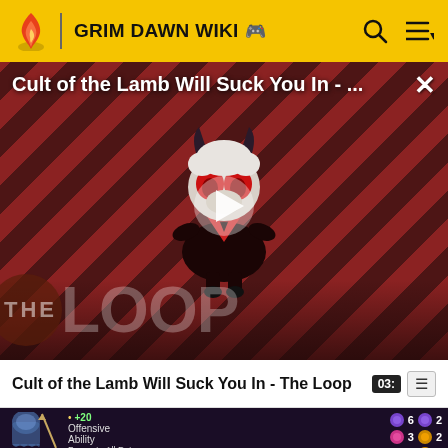GRIM DAWN WIKI
[Figure (screenshot): Video thumbnail for 'Cult of the Lamb Will Suck You In - The Loop' with diagonal red/dark stripe background, a cartoon lamb character, play button overlay, and THE LOOP text watermark]
Cult of the Lamb Will Suck You In - The Loop
[Figure (screenshot): Grim Dawn game screenshot showing a character, stat bonus +20 Offensive Ability, Bonus to All Pets section, and colored gem icons with numbers 6, 3, 3, 2, 2]